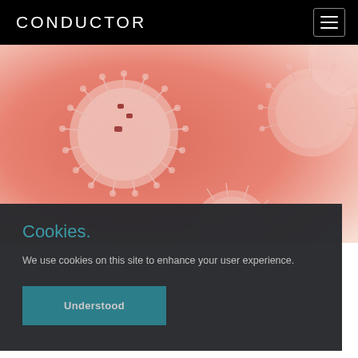CONDUCTOR
[Figure (illustration): Close-up scientific illustration of virus particles (coronavirus-like) on a salmon/pink background. The virus particles are round with protruding spike proteins rendered in pinkish-white tones, with small red accent structures visible on their surfaces.]
Cookies.
We use cookies on this site to enhance your user experience.
Understood